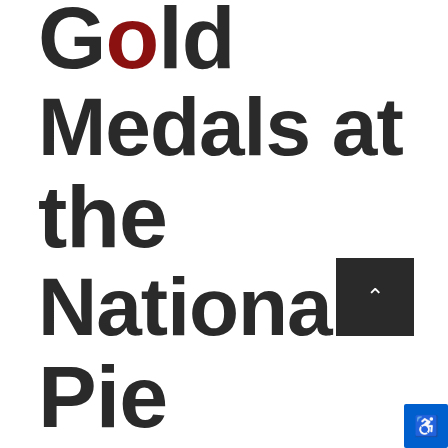Gold Medals at the National Pie Champions...